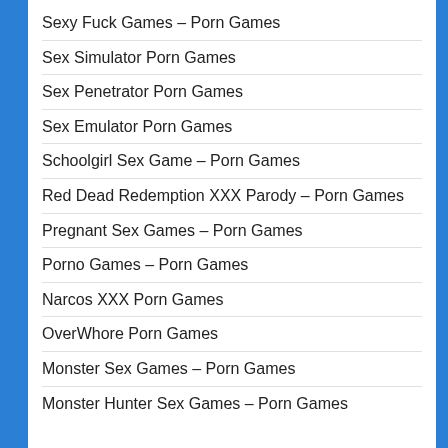Sexy Fuck Games – Porn Games
Sex Simulator Porn Games
Sex Penetrator Porn Games
Sex Emulator Porn Games
Schoolgirl Sex Game – Porn Games
Red Dead Redemption XXX Parody – Porn Games
Pregnant Sex Games – Porn Games
Porno Games – Porn Games
Narcos XXX Porn Games
OverWhore Porn Games
Monster Sex Games – Porn Games
Monster Hunter Sex Games – Porn Games